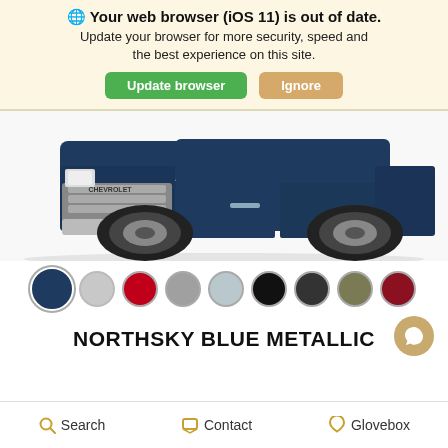🌐 Your web browser (iOS 11) is out of date. Update your browser for more security, speed and the best experience on this site.
Update browser | Ignore
[Figure (photo): Front view of a Chevrolet heavy duty pickup truck in dark blue/navy color on a white background]
[Figure (other): Color swatch selector showing 9 color circles: navy blue (selected), light gray, red, medium gray, light blue-gray, black, dark gray, olive/khaki, dark red]
NORTHSKY BLUE METALLIC
Search   Contact   Glovebox